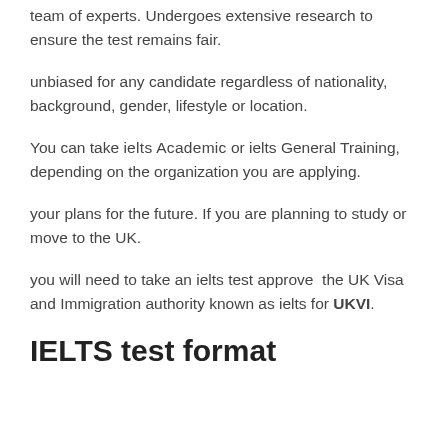team of experts. Undergoes extensive research to ensure the test remains fair.
unbiased for any candidate regardless of nationality, background, gender, lifestyle or location.
You can take ielts Academic or ielts General Training, depending on the organization you are applying.
your plans for the future. If you are planning to study or move to the UK.
you will need to take an ielts test approve  the UK Visa and Immigration authority known as ielts for UKVI.
IELTS test format